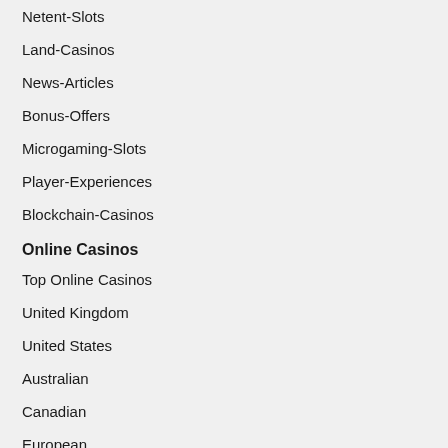Netent-Slots
Land-Casinos
News-Articles
Bonus-Offers
Microgaming-Slots
Player-Experiences
Blockchain-Casinos
Online Casinos
Top Online Casinos
United Kingdom
United States
Australian
Canadian
European